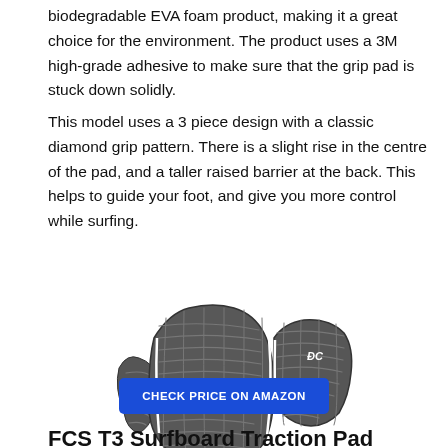biodegradable EVA foam product, making it a great choice for the environment. The product uses a 3M high-grade adhesive to make sure that the grip pad is stuck down solidly.
This model uses a 3 piece design with a classic diamond grip pattern. There is a slight rise in the centre of the pad, and a taller raised barrier at the back. This helps to guide your foot, and give you more control while surfing.
[Figure (photo): Photo of a dark gray 3-piece surfboard traction pad with diamond grip pattern, white trim lines, and black base. The OAM/DC logo is visible on the top right piece.]
CHECK PRICE ON AMAZON
FCS T3 Surfboard Traction Pad